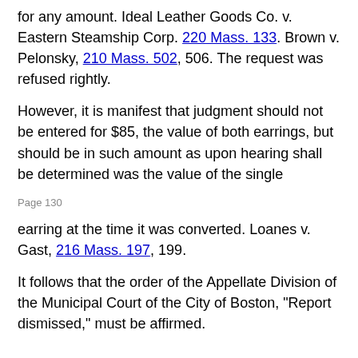for any amount. Ideal Leather Goods Co. v. Eastern Steamship Corp. 220 Mass. 133. Brown v. Pelonsky, 210 Mass. 502, 506. The request was refused rightly.
However, it is manifest that judgment should not be entered for $85, the value of both earrings, but should be in such amount as upon hearing shall be determined was the value of the single
Page 130
earring at the time it was converted. Loanes v. Gast, 216 Mass. 197, 199.
It follows that the order of the Appellate Division of the Municipal Court of the City of Boston, "Report dismissed," must be affirmed.